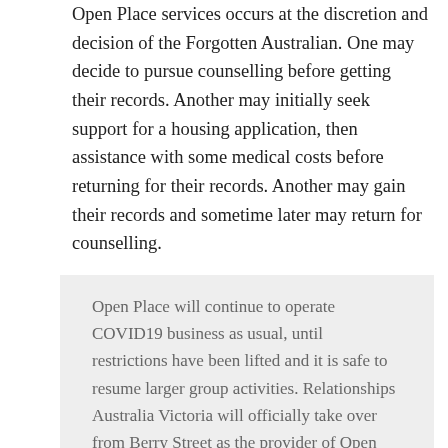Open Place services occurs at the discretion and decision of the Forgotten Australian. One may decide to pursue counselling before getting their records. Another may initially seek support for a housing application, then assistance with some medical costs before returning for their records. Another may gain their records and sometime later may return for counselling.
Open Place will continue to operate COVID19 business as usual, until restrictions have been lifted and it is safe to resume larger group activities. Relationships Australia Victoria will officially take over from Berry Street as the provider of Open Place on 1 July 2020 and more information will follow. Open Place looks forward to continuing to provide its suite of